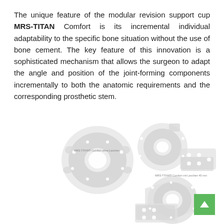The unique feature of the modular revision support cup MRS-TITAN Comfort is its incremental individual adaptability to the specific bone situation without the use of bone cement. The key feature of this innovation is a sophisticated mechanism that allows the surgeon to adapt the angle and position of the joint-forming components incrementally to both the anatomic requirements and the corresponding prosthetic stem.
[Figure (photo): Three modular revision support cup components (MRS-TITAN Comfort) shown from above — two smaller round cups with flanges and screw holes at the top, and one larger hexagonal-rimmed cup with a longer arm/flange at the bottom. Components are metallic/silver-white in color photographed on a white background.]
MRS-TITAN® Comfort ohne Laschen
MRS-TITAN® Comfort mit Laschen 45 mm